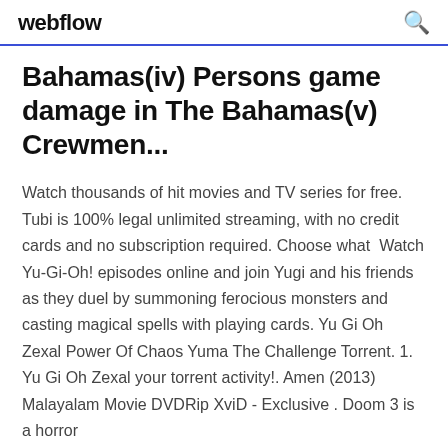webflow
Bahamas(iv) Persons game damage in The Bahamas(v) Crewmen...
Watch thousands of hit movies and TV series for free. Tubi is 100% legal unlimited streaming, with no credit cards and no subscription required. Choose what  Watch Yu-Gi-Oh! episodes online and join Yugi and his friends as they duel by summoning ferocious monsters and casting magical spells with playing cards. Yu Gi Oh Zexal Power Of Chaos Yuma The Challenge Torrent. 1. Yu Gi Oh Zexal your torrent activity!. Amen (2013) Malayalam Movie DVDRip XviD - Exclusive . Doom 3 is a horror